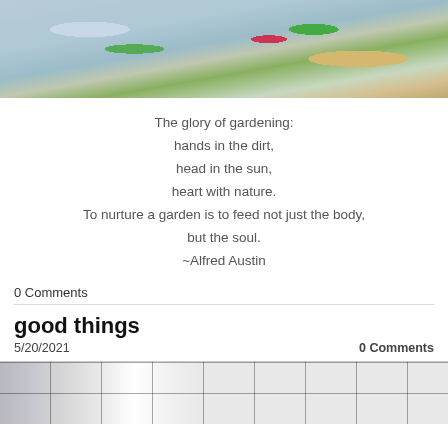[Figure (photo): Top-down photo of fresh garden vegetables and greens on a blue and white cloth with a wooden surface visible]
The glory of gardening:
hands in the dirt,
head in the sun,
heart with nature.
To nurture a garden is to feed not just the body,
but the soul.
~Alfred Austin
0 Comments
good things
5/20/2021    0 Comments
[Figure (photo): Partial photo of white sneakers/shoes on white tiles with a green stripe visible]